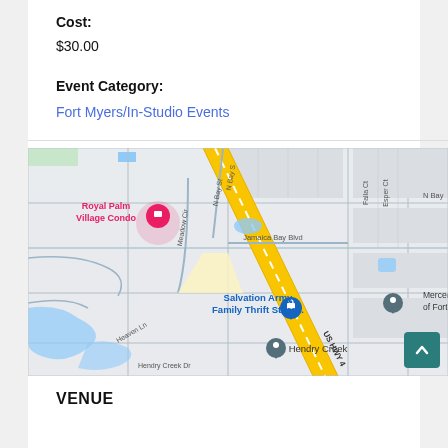Cost:
$30.00
Event Category:
Fort Myers/In-Studio Events
[Figure (map): Google Maps showing area around Royal Palm Village Condo, Salvation Army Family Thrift Store, Hendry Creek, and Mercedes-Benz of Fort Myers along US HWY 41]
VENUE